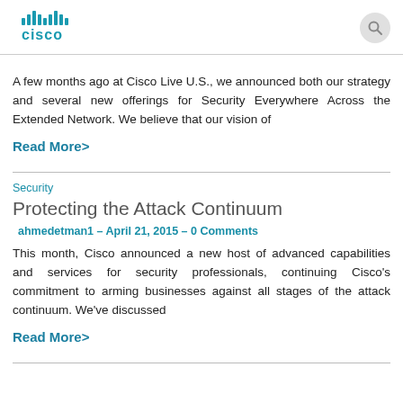[Figure (logo): Cisco logo with signal bars and 'cisco' text in teal/blue]
A few months ago at Cisco Live U.S., we announced both our strategy and several new offerings for Security Everywhere Across the Extended Network. We believe that our vision of
Read More>
Security
Protecting the Attack Continuum
ahmedetman1 – April 21, 2015 – 0 Comments
This month, Cisco announced a new host of advanced capabilities and services for security professionals, continuing Cisco's commitment to arming businesses against all stages of the attack continuum. We've discussed
Read More>